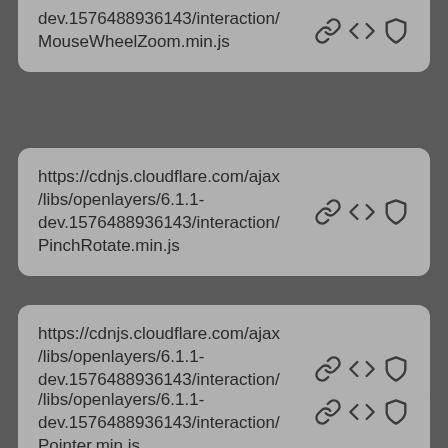dev.1576488936143/interaction/MouseWheelZoom.min.js
https://cdnjs.cloudflare.com/ajax/libs/openlayers/6.1.1-dev.1576488936143/interaction/PinchRotate.min.js
https://cdnjs.cloudflare.com/ajax/libs/openlayers/6.1.1-dev.1576488936143/interaction/PinchZoom.min.js
https://cdnjs.cloudflare.com/ajax/libs/openlayers/6.1.1-dev.1576488936143/interaction/Pointer.min.js